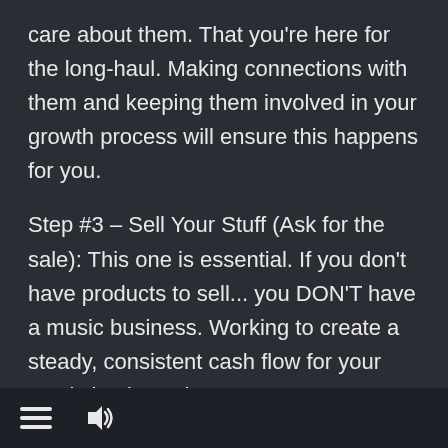care about them. That you're here for the long-haul. Making connections with them and keeping them involved in your growth process will ensure this happens for you.
Step #3 – Sell Your Stuff (Ask for the sale): This one is essential. If you don't have products to sell... you DON'T have a music business. Working to create a steady, consistent cash flow for your music business is paramount to your long-term success. Entice fans to spend their money and buy
[Figure (other): Bottom navigation bar with hamburger menu icon and speaker/sound icon]